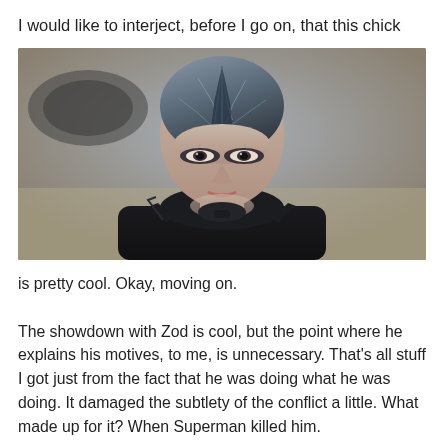I would like to interject, before I go on, that this chick
[Figure (photo): A female character in dark sci-fi armor with a cracked/veined headpiece over her skull, wearing black armor, looking forward with a serious expression. Desert/sandy background out of focus.]
is pretty cool. Okay, moving on.

The showdown with Zod is cool, but the point where he explains his motives, to me, is unnecessary. That's all stuff I got just from the fact that he was doing what he was doing. It damaged the subtlety of the conflict a little. What made up for it? When Superman killed him.